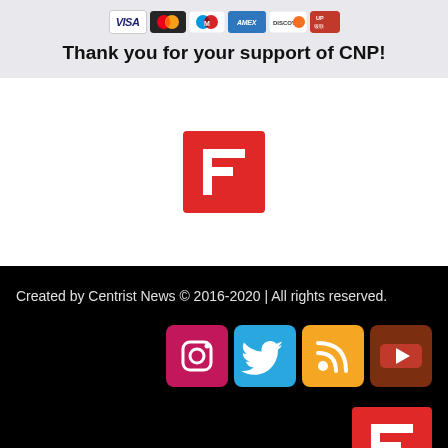[Figure (logo): Payment card icons: Visa, Mastercard, Maestro, American Express, Discover, UnionPay]
Thank you for your support of CNP!
[Figure (logo): Flipboard logo - red square with white F icon]
Created by Centrist News © 2016-2020 | All rights reserved.
[Figure (logo): Social media icons: Instagram (pink), Twitter (blue), RSS (orange), YouTube (dark red)]
[Figure (logo): Flipboard logo - red square with white F icon (bottom right)]